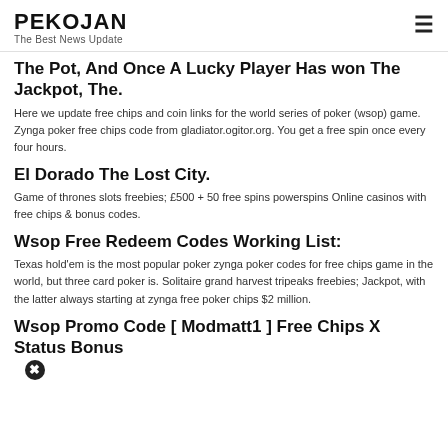PEKOJAN
The Best News Update
The Pot, And Once A Lucky Player Has won The Jackpot, The.
Here we update free chips and coin links for the world series of poker (wsop) game. Zynga poker free chips code from gladiator.ogitor.org. You get a free spin once every four hours.
El Dorado The Lost City.
Game of thrones slots freebies; £500 + 50 free spins powerspins Online casinos with free chips & bonus codes.
Wsop Free Redeem Codes Working List:
Texas hold'em is the most popular poker zynga poker codes for free chips game in the world, but three card poker is. Solitaire grand harvest tripeaks freebies; Jackpot, with the latter always starting at zynga free poker chips $2 million.
Wsop Promo Code [ Modmatt1 ] Free Chips X Status Bonus